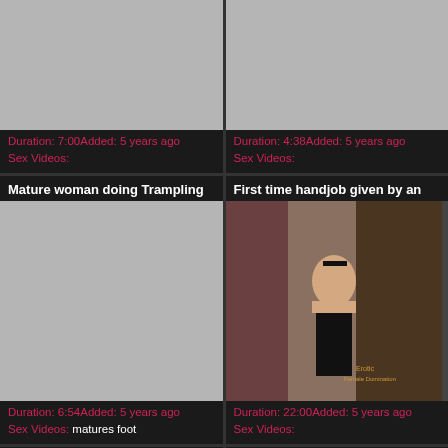[Figure (screenshot): Video thumbnail placeholder grey box, top left]
Duration: 7:00Added: 5 years ago
Sex Videos:
[Figure (screenshot): Video thumbnail placeholder grey box, top right]
Duration: 4:38Added: 5 years ago
Sex Videos:
Mature woman doing Trampling
[Figure (screenshot): Video thumbnail placeholder grey box, mid left]
Duration: 6:54Added: 5 years ago
Sex Videos: matures foot
First time handjob given by an
[Figure (photo): Woman in black underwear standing in a room with brick wall and bookshelves, watermark Erotic Female Domination]
Duration: 22:00Added: 5 years ago
Sex Videos:
Handjob of his life with 2
You can't cum until I let you JOI